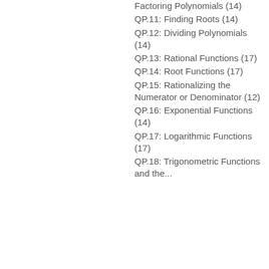Factoring Polynomials (14)
QP.11: Finding Roots (14)
QP.12: Dividing Polynomials (14)
QP.13: Rational Functions (17)
QP.14: Root Functions (17)
QP.15: Rationalizing the Numerator or Denominator (12)
QP.16: Exponential Functions (14)
QP.17: Logarithmic Functions (17)
QP.18: Trigonometric Functions and the...